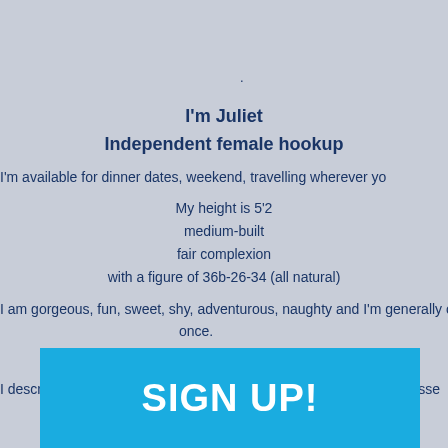.
I'm Juliet
Independent female hookup
I'm available for dinner dates, weekend, travelling wherever yo
My height is 5'2
medium-built
fair complexion
with a figure of 36b-26-34 (all natural)
I am gorgeous, fun, sweet, shy, adventurous, naughty and I'm generally o once.
A real GFe! Can be PSe if u want to...
I describe myself as very friendly, well educated, intelligent, well dresse attractive.
I consider my job as a hobby.
onscious...
nd I don't like to smoke
[Figure (other): Blue SIGN UP! button overlay]